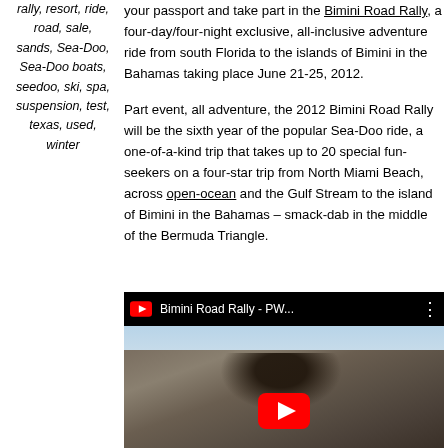rally, resort, ride, road, sale, sands, Sea-Doo, Sea-Doo boats, seedoo, ski, spa, suspension, test, texas, used, winter
your passport and take part in the Bimini Road Rally, a four-day/four-night exclusive, all-inclusive adventure ride from south Florida to the islands of Bimini in the Bahamas taking place June 21-25, 2012.
Part event, all adventure, the 2012 Bimini Road Rally will be the sixth year of the popular Sea-Doo ride, a one-of-a-kind trip that takes up to 20 special fun-seekers on a four-star trip from North Miami Beach, across open-ocean and the Gulf Stream to the island of Bimini in the Bahamas – smack-dab in the middle of the Bermuda Triangle.
[Figure (screenshot): YouTube video thumbnail showing 'Bimini Road Rally - PW...' with rocky ruins and sky in the background, YouTube logo icon, three-dot menu icon, and a red play button at the bottom center.]